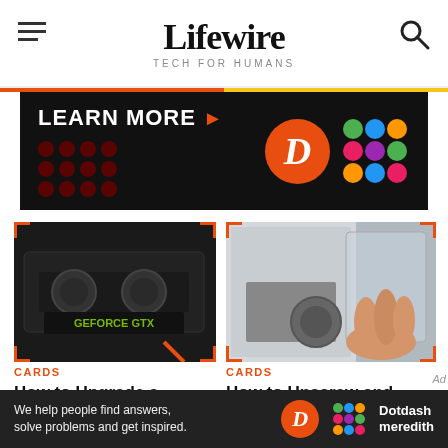Lifewire TECH FOR HUMANS
[Figure (illustration): Advertisement banner with dark background showing LEARN MORE text with arrow, red dot grid pattern, red D logo circle, and colorful dotdash meredith logo grid]
[Figure (photo): Close-up photo of a GeForce GTX graphics card installed in a PC]
CARDS
How to Upgrade a
[Figure (photo): Person removing side panel from desktop PC tower, holding transparent acrylic panel]
CARDS
How to Unscrew and
[Figure (illustration): Bottom advertisement banner: We help people find answers, solve problems and get inspired. Dotdash Meredith logo]